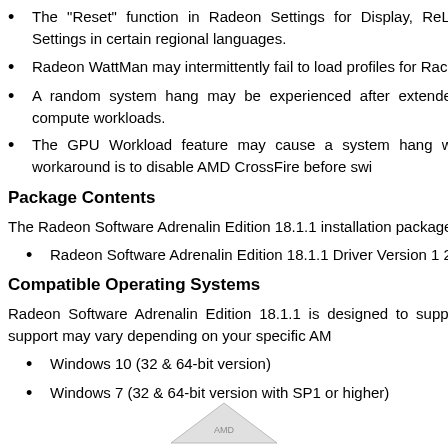The "Reset" function in Radeon Settings for Display, ReLive, using Radeon Settings in certain regional languages.
Radeon WattMan may intermittently fail to load profiles for Radeon page.
A random system hang may be experienced after extended periods using 12 GPU's for compute workloads.
The GPU Workload feature may cause a system hang when switching enabled. A workaround is to disable AMD CrossFire before switching.
Package Contents
The Radeon Software Adrenalin Edition 18.1.1 installation package
Radeon Software Adrenalin Edition 18.1.1 Driver Version 23.20.15015.1002)
Compatible Operating Systems
Radeon Software Adrenalin Edition 18.1.1 is designed to support Operating System support may vary depending on your specific AMD
Windows 10 (32 & 64-bit version)
Windows 7 (32 & 64-bit version with SP1 or higher)